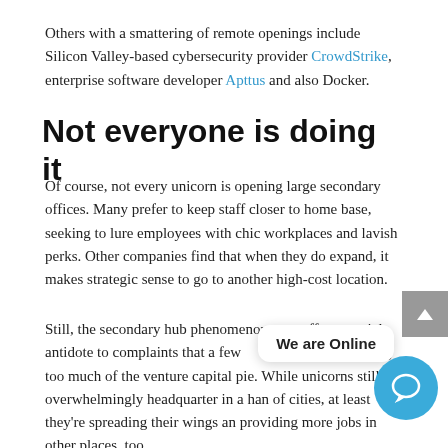Others with a smattering of remote openings include Silicon Valley-based cybersecurity provider CrowdStrike, enterprise software developer Apttus and also Docker.
Not everyone is doing it
Of course, not every unicorn is opening large secondary offices. Many prefer to keep staff closer to home base, seeking to lure employees with chic workplaces and lavish perks. Other companies find that when they do expand, it makes strategic sense to go to another high-cost location.
Still, the secondary hub phenomenon may offer a partial antidote to complaints that a few cities are hogging too much of the venture capital pie. While unicorns still overwhelmingly headquarter in a handful of cities, at least they're spreading their wings and providing more jobs in other places, too.